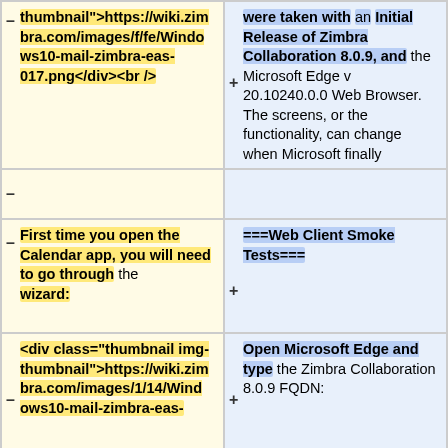thumbnail">https://wiki.zimbra.com/images/f/fe/Windows10-mail-zimbra-eas-017.png</div><br />
were taken with an Initial Release of Zimbra Collaboration 8.0.9, and the Microsoft Edge v 20.10240.0.0 Web Browser. The screens, or the functionality, can change when Microsoft finally releases Microsoft Windows 10.
First time you open the Calendar app, you will need to go through the wizard:
===Web Client Smoke Tests===
<div class="thumbnail img-thumbnail">https://wiki.zimbra.com/images/1/14/Windows10-mail-zimbra-eas-
Open Microsoft Edge and type the Zimbra Collaboration 8.0.9 FQDN: